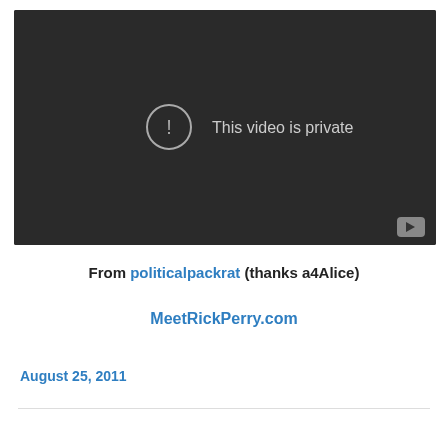[Figure (screenshot): Embedded YouTube video player showing 'This video is private' error message with exclamation mark icon in a circle, dark background, play button in bottom-right corner]
From politicalpackrat (thanks a4Alice)
MeetRickPerry.com
August 25, 2011